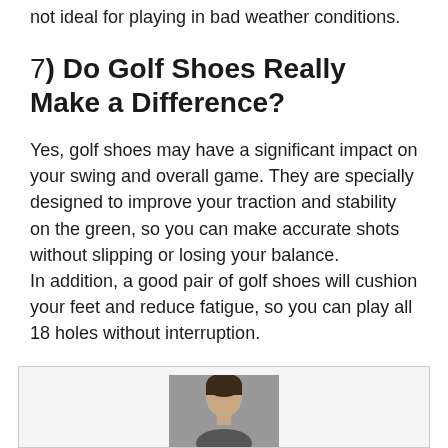not ideal for playing in bad weather conditions.
7) Do Golf Shoes Really Make a Difference?
Yes, golf shoes may have a significant impact on your swing and overall game. They are specially designed to improve your traction and stability on the green, so you can make accurate shots without slipping or losing your balance.
In addition, a good pair of golf shoes will cushion your feet and reduce fatigue, so you can play all 18 holes without interruption.
[Figure (photo): Partial portrait photo of a person, cropped at the bottom of the page inside a bordered box.]